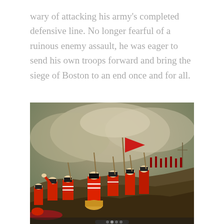wary of attacking his army's completed defensive line. No longer fearful of a ruinous enemy assault, he was eager to send his own troops forward and bring the siege of Boston to an end once and for all.
[Figure (illustration): Historical painting depicting a battle scene with British Redcoat soldiers in red uniforms advancing uphill through smoke, with bayonets and flags, in what appears to be a Revolutionary War battle — likely the Battle of Bunker Hill.]